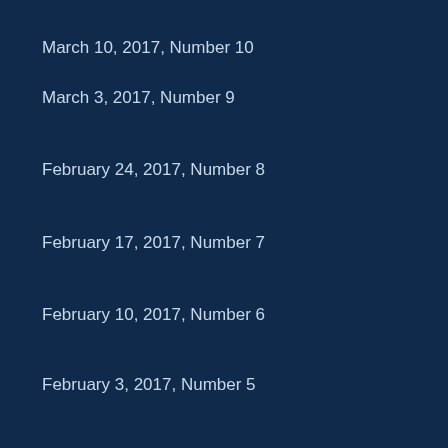March 10, 2017, Number 10
March 3, 2017, Number 9
February 24, 2017, Number 8
February 17, 2017, Number 7
February 10, 2017, Number 6
February 3, 2017, Number 5
January 27, 2017, Number 4
January 20, 2017, Number 3
January 13, 2017, Number 2